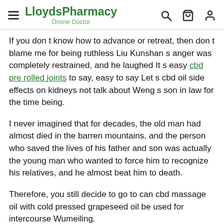LloydsPharmacy Online Doctor
If you don t know how to advance or retreat, then don t blame me for being ruthless Liu Kunshan s anger was completely restrained, and he laughed It s easy cbd pre rolled joints to say, easy to say Let s cbd oil side effects on kidneys not talk about Weng s son in law for the time being.
I never imagined that for decades, the old man had almost died in the barren mountains, and the person who saved the lives of his father and son was actually the young man who wanted to force him to recognize his relatives, and he almost beat him to death.
Therefore, you still decide to go to can cbd massage oil with cold pressed grapeseed oil be used for intercourse Wumeiling.